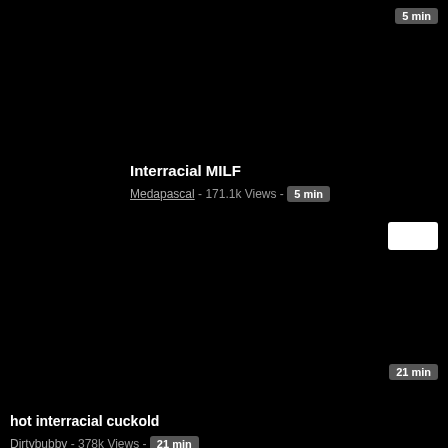[Figure (screenshot): Black thumbnail area for Interracial MILF video]
Interracial MILF
Medapascal - 171.1k Views - 5 min
[Figure (screenshot): Black thumbnail area with white rectangle overlay, second video card]
hot interracial cuckold
Dirtybubby - 378k Views - 21 min